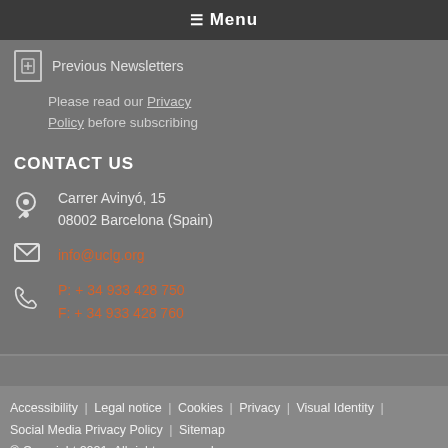☰ Menu
Previous Newsletters
Please read our Privacy Policy before subscribing
CONTACT US
Carrer Avinyó, 15
08002 Barcelona (Spain)
info@uclg.org
P: + 34 933 428 750
F: + 34 933 428 760
Accessibility | Legal notice | Cookies | Privacy | Visual Identity | Social Media Privacy Policy | Sitemap
© Copyright 2021. All rights reserved.